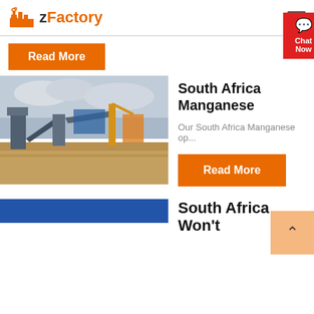zFactory
Read More
[Figure (photo): Outdoor industrial mining facility with conveyor belts and heavy equipment under a cloudy sky in South Africa]
South Africa Manganese
Our South Africa Manganese op...
Read More
South Africa Won't